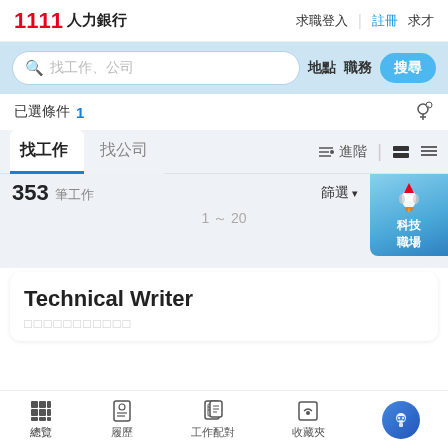1111 人力銀行  求職登入  |  註冊  求才
[Figure (screenshot): Search bar with placeholder text 找工作、公司, 地點, 職務, and 搜尋 button]
已選條件  1
找工作  找公司  　進階  ▬  ≡
353 筆工作
篩選 ▾
1 ～ 20
Technical Writer
□□□□□□□□□□□
總覽  履歷  工作配對  收藏夾